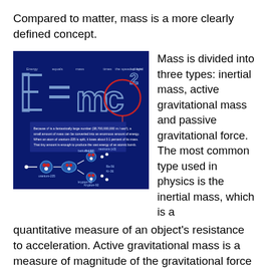Compared to matter, mass is a more clearly defined concept.
[Figure (infographic): Dark blue infographic showing E=mc² equation with nuclear fission diagram and explanatory text about mass-energy conversion.]
Mass is divided into three types: inertial mass, active gravitational mass and passive gravitational force. The most common type used in physics is the inertial mass, which is a quantitative measure of an object's resistance to acceleration. Active gravitational mass is a measure of magnitude of the gravitational force which is exerted by an object, while passive gravitational force is a measure of magnitude of the gravitational force which is experienced by an object when interactive with another object. The